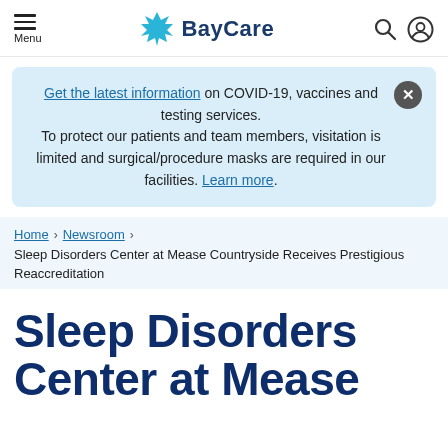Menu | BayCare
Get the latest information on COVID-19, vaccines and testing services. To protect our patients and team members, visitation is limited and surgical/procedure masks are required in our facilities. Learn more.
Home > Newsroom > Sleep Disorders Center at Mease Countryside Receives Prestigious Reaccreditation
Sleep Disorders Center at Mease